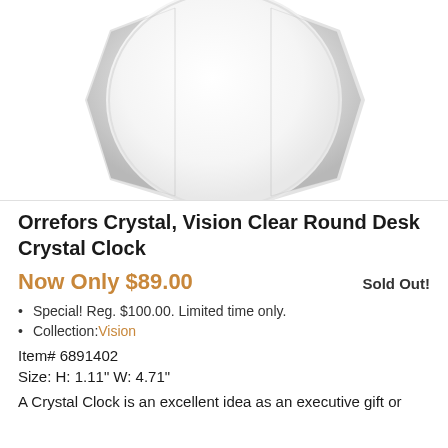[Figure (photo): Top-down view of a round white crystal desk clock with faceted octagonal bezel, white dial, no hands visible from this angle]
Orrefors Crystal, Vision Clear Round Desk Crystal Clock
Now Only $89.00   Sold Out!
Special! Reg. $100.00. Limited time only.
Collection: Vision
Item# 6891402
Size: H: 1.11" W: 4.71"
A Crystal Clock is an excellent idea as an executive gift or